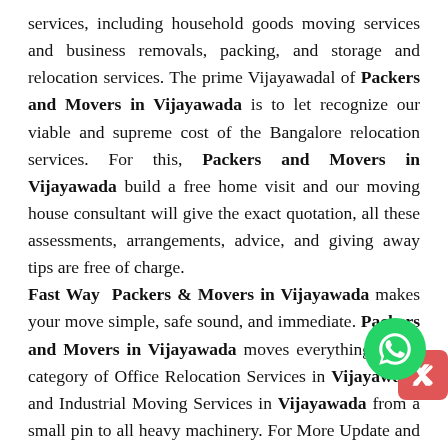services, including household goods moving services and business removals, packing, and storage and relocation services. The prime Vijayawadal of Packers and Movers in Vijayawada is to let recognize our viable and supreme cost of the Bangalore relocation services. For this, Packers and Movers in Vijayawada build a free home visit and our moving house consultant will give the exact quotation, all these assessments, arrangements, advice, and giving away tips are free of charge. Fast Way Packers & Movers in Vijayawada makes your move simple, safe sound, and immediate. Packers and Movers in Vijayawada moves everything in the category of Office Relocation Services in Vijayawada and Industrial Moving Services in Vijayawada from a small pin to all heavy machinery. For More Update and inquiry please